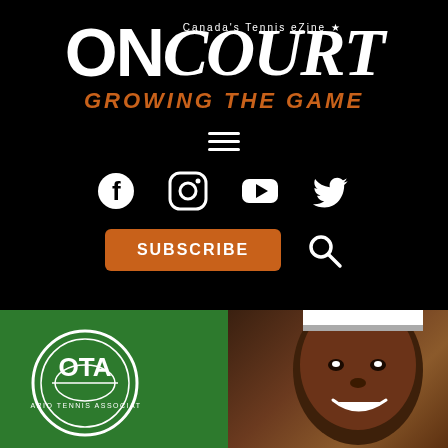[Figure (logo): ONcourt Canada's Tennis eZine logo with white bold text on black background]
GROWING THE GAME
[Figure (infographic): Hamburger menu icon (three white horizontal lines)]
[Figure (infographic): Social media icons row: Facebook, Instagram, YouTube, Twitter, all white on black]
[Figure (infographic): SUBSCRIBE orange button and search icon]
[Figure (photo): Green background section with OTA (Ontario Tennis Association) logo on left and a smiling person's face on right]